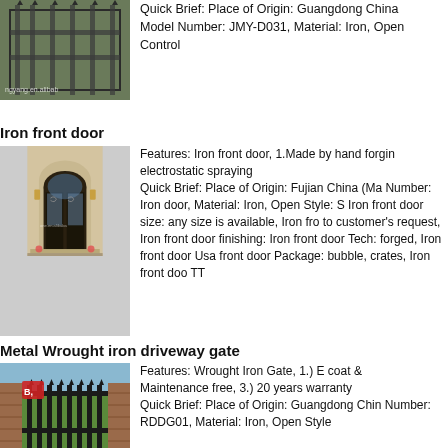[Figure (photo): Iron gate/fence product photo with alibaba watermark]
Quick Brief: Place of Origin: Guangdong China Model Number: JMY-D031, Material: Iron, Open Control
Iron front door
[Figure (photo): Iron front door with arched entrance and glass panels]
Features: Iron front door, 1.Made by hand forging electrostatic spraying Quick Brief: Place of Origin: Fujian China (Ma Number: Iron door, Material: Iron, Open Style: S Iron front door size: any size is available, Iron fro to customer's request, Iron front door finishing: Iron front door Tech: forged, Iron front door Usa front door Package: bubble, crates, Iron front doo TT
Metal Wrought iron driveway gate
[Figure (photo): Metal wrought iron driveway gate with brick pillars]
Features: Wrought Iron Gate, 1.) E coat & Maintenance free, 3.) 20 years warranty Quick Brief: Place of Origin: Guangdong Chin Number: RDDG01, Material: Iron, Open Style